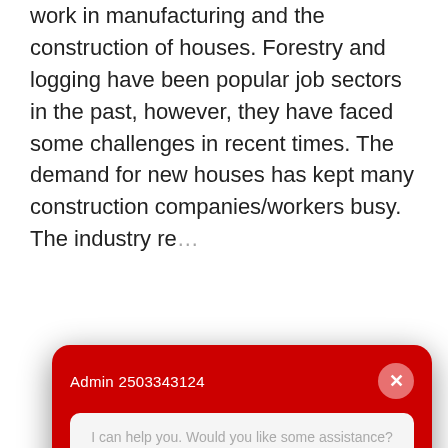work in manufacturing and the construction of houses. Forestry and logging have been popular job sectors in the past, however, they have faced some challenges in recent times. The demand for new houses has kept many construction companies/workers busy. The industry re...
[Figure (screenshot): A modal chat dialog with red background header 'Admin 2503343124', a close button, a text input reading 'I can help you. Would you like some assistance?', a green 'Yes Please!' button, a pink 'Not right now.' button, and an info box about SYNCRO connecting users with Royal LePage in the Comox Valley.]